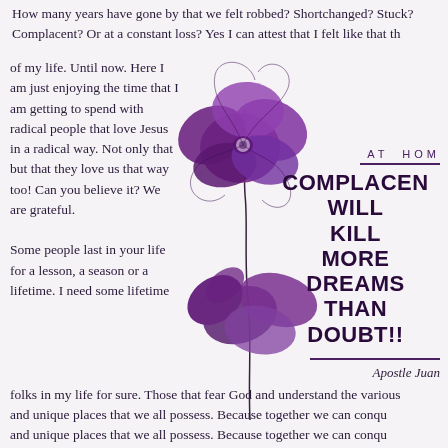How many years have gone by that we felt robbed? Shortchanged? Stuck? Complacent? Or at a constant loss? Yes I can attest that I felt like that the majority of my life. Until now. Here I am just enjoying the time that I am getting to spend with radical people that love Jesus in a radical way. Not only that but that they love us that way too! Can you believe it? We are grateful.
[Figure (illustration): Two purple poppy flowers on a single curved stem, illustrated in a minimalist line-art style with filled purple petals]
AT HOM
COMPLACENCY WILL KILL MORE DREAMS THAN DOUBT!!
Apostle Juan
Some people last in your life for a lesson, a season or a lifetime. I need some lifetime folks in my life for sure. Those that fear God and understand the various and unique places that we all possess. Because together we can conquer and unique places that we all possess. Because together we can conqu